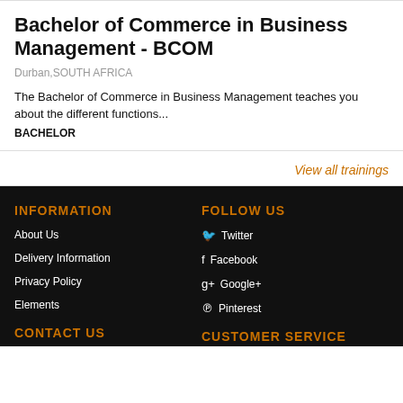Bachelor of Commerce in Business Management - BCOM
Durban,SOUTH AFRICA
The Bachelor of Commerce in Business Management teaches you about the different functions...
BACHELOR
View all trainings
INFORMATION
About Us
Delivery Information
Privacy Policy
Elements
CONTACT US
FOLLOW US
Twitter
Facebook
Google+
Pinterest
CUSTOMER SERVICE